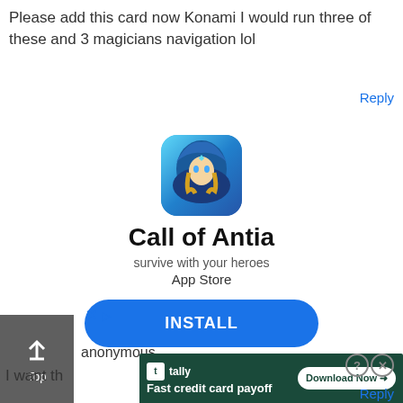Please add this card now Konami I would run three of these and 3 magicians navigation lol
Reply
[Figure (screenshot): Advertisement for 'Call of Antia' mobile game. Shows app icon (fantasy woman in blue hood), title 'Call of Antia', subtitle 'survive with your heroes', 'App Store' text, and a blue INSTALL button. Has ad badge with X and play icon.]
anonymous
I want th
[Figure (screenshot): Banner advertisement for Tally - Fast credit card payoff app with Download Now button and close/question buttons.]
Reply